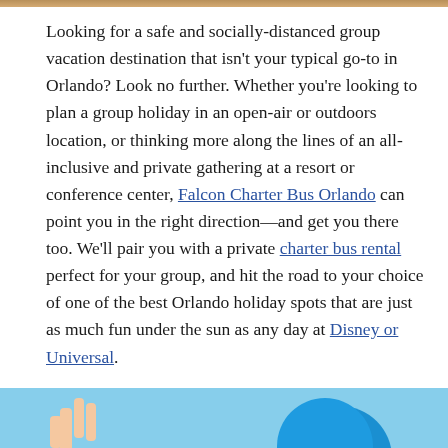[Figure (photo): Top edge of photo visible at very top of page]
Looking for a safe and socially-distanced group vacation destination that isn't your typical go-to in Orlando? Look no further. Whether you're looking to plan a group holiday in an open-air or outdoors location, or thinking more along the lines of an all-inclusive and private gathering at a resort or conference center, Falcon Charter Bus Orlando can point you in the right direction—and get you there too. We'll pair you with a private charter bus rental perfect for your group, and hit the road to your choice of one of the best Orlando holiday spots that are just as much fun under the sun as any day at Disney or Universal.
[Figure (photo): Bottom portion of page showing a light blue sky with a hand and blue balloon/ball]